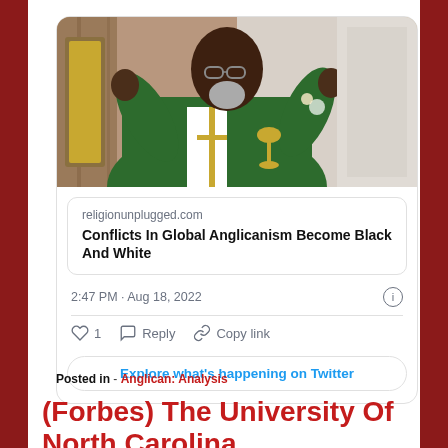[Figure (screenshot): Embedded tweet screenshot showing a photo of a Black priest in green vestments gesturing with his hands during Mass, with a link preview to religionunplugged.com article 'Conflicts In Global Anglicanism Become Black And White', timestamp 2:47 PM · Aug 18, 2022, and engagement buttons (1 like, Reply, Copy link) plus an 'Explore what's happening on Twitter' button.]
Posted in - Anglican: Analysis
(Forbes) The University Of North Carolina